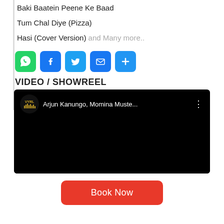Baki Baatein Peene Ke Baad
Tum Chal Diye (Pizza)
Hasi (Cover Version) and Many more..
[Figure (infographic): Social sharing icons row: WhatsApp (green), Facebook (blue), Twitter (light blue), Email (blue), More/Share (blue with plus)]
VIDEO / SHOWREEL
[Figure (screenshot): Embedded YouTube video player showing VYRL channel with title 'Arjun Kanungo, Momina Muste...' on black background]
Book Now